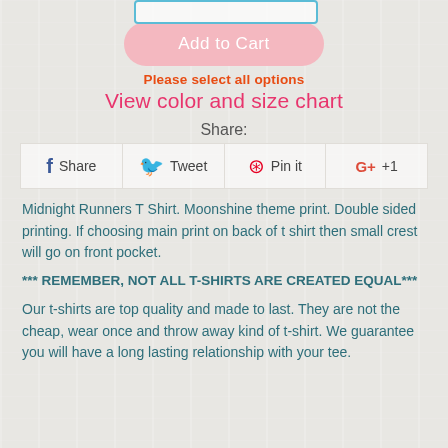[Figure (screenshot): Add to Cart button (pink/salmon rounded rectangle)]
Please select all options
View color and size chart
Share:
[Figure (infographic): Social share buttons row: Facebook Share, Twitter Tweet, Pinterest Pin it, Google+ +1]
Midnight Runners T Shirt. Moonshine theme print. Double sided printing. If choosing main print on back of t shirt then small crest will go on front pocket.
*** REMEMBER, NOT ALL T-SHIRTS ARE CREATED EQUAL***
Our t-shirts are top quality and made to last. They are not the cheap, wear once and throw away kind of t-shirt. We guarantee you will have a long lasting relationship with your tee.